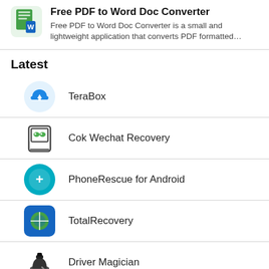[Figure (logo): Free PDF to Word Doc Converter app icon - green/teal document icon]
Free PDF to Word Doc Converter
Free PDF to Word Doc Converter is a small and lightweight application that converts PDF formatted…
Latest
[Figure (logo): TeraBox app icon - blue cloud with upload arrow]
TeraBox
[Figure (logo): Cok Wechat Recovery app icon - phone with WeChat logo]
Cok Wechat Recovery
[Figure (logo): PhoneRescue for Android app icon - teal circle with plus symbol]
PhoneRescue for Android
[Figure (logo): TotalRecovery app icon - blue square with green globe and tools]
TotalRecovery
[Figure (logo): Driver Magician app icon - magician hat with wand]
Driver Magician
[Figure (logo): Partially visible pink/red app icon at bottom]